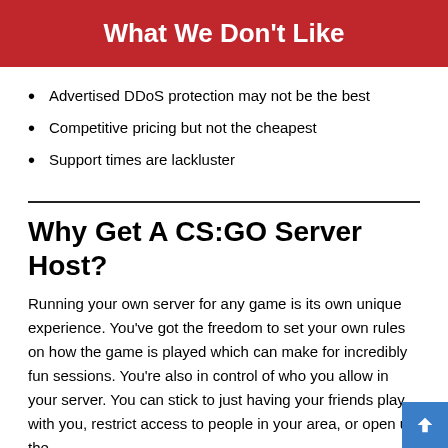What We Don't Like
Advertised DDoS protection may not be the best
Competitive pricing but not the cheapest
Support times are lackluster
Why Get A CS:GO Server Host?
Running your own server for any game is its own unique experience. You've got the freedom to set your own rules on how the game is played which can make for incredibly fun sessions. You're also in control of who you allow in your server. You can stick to just having your friends play with you, restrict access to people in your area, or open up the